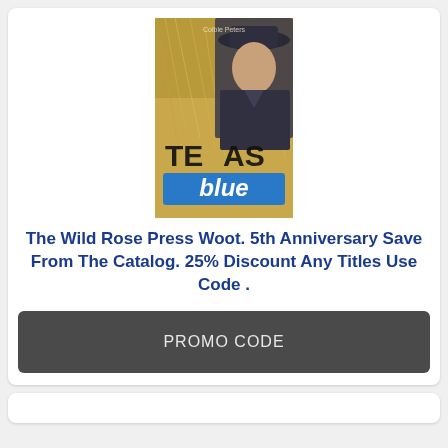[Figure (illustration): Book cover for 'Texas Blue' showing a person in a cowboy hat against a golden wheat/hay background with large text 'TEXAS blue' on the cover]
The Wild Rose Press Woot. 5th Anniversary Save From The Catalog. 25% Discount Any Titles Use Code .
PROMO CODE